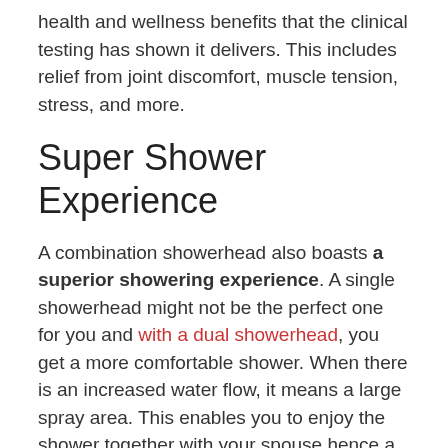health and wellness benefits that the clinical testing has shown it delivers. This includes relief from joint discomfort, muscle tension, stress, and more.
Super Shower Experience
A combination showerhead also boasts a superior showering experience. A single showerhead might not be the perfect one for you and with a dual showerhead, you get a more comfortable shower. When there is an increased water flow, it means a large spray area. This enables you to enjoy the shower together with your spouse hence a perfect way to rekindle your love.
Perfect for Disabled Persons
A combination shower head is also perfect for disabled persons. People with disabilities have problems when